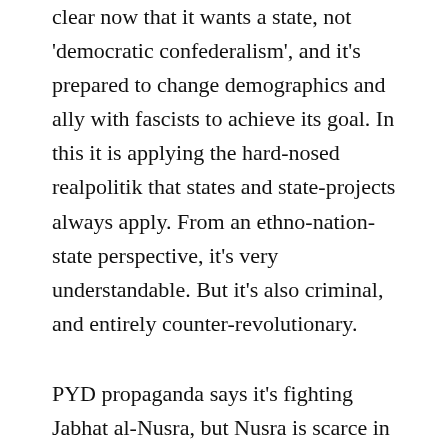clear now that it wants a state, not 'democratic confederalism', and it's prepared to change demographics and ally with fascists to achieve its goal. In this it is applying the hard-nosed realpolitik that states and state-projects always apply. From an ethno-nation-state perspective, it's very understandable. But it's also criminal, and entirely counter-revolutionary.
PYD propaganda says it's fighting Jabhat al-Nusra, but Nusra is scarce in in northern Aleppo, and the towns under assault are defended by local Free Army men. The current PYD action actually benefits jihadists in general, ISIS in particular, because the larger Russian plan is to encircle Aleppo city and the whole of Idlib province, to drive out the remaining civilians, to starve resisters into submission, and to utterly destroy the councils and the democratic, nationalist militias